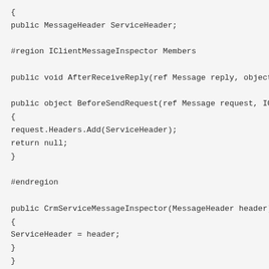{
public MessageHeader ServiceHeader;

#region IClientMessageInspector Members

public void AfterReceiveReply(ref Message reply, object c

public object BeforeSendRequest(ref Message request, ICli
{
request.Headers.Add(ServiceHeader);
return null;
}

#endregion

public CrmServiceMessageInspector(MessageHeader header)
{
ServiceHeader = header;
}
}

private class CrmServiceBehavior : IEndpointBehavior
{
public CrmServiceMessageInspector ServiceInspector;

#region IEndpointBehavior Members